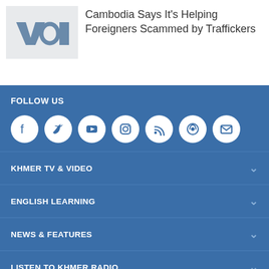[Figure (logo): VOA logo in grey on light grey background]
Cambodia Says It's Helping Foreigners Scammed by Traffickers
FOLLOW US
[Figure (infographic): Social media icons: Facebook, Twitter, YouTube, Instagram, RSS, Podcast, Email]
KHMER TV & VIDEO
ENGLISH LEARNING
NEWS & FEATURES
LISTEN TO KHMER RADIO
CONTACT & ABOUT US